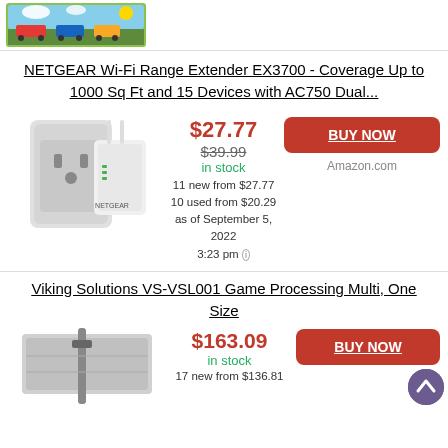[Figure (photo): Colorful children's game or toy product image in top left corner]
NETGEAR Wi-Fi Range Extender EX3700 - Coverage Up to 1000 Sq Ft and 15 Devices with AC750 Dual...
[Figure (photo): NETGEAR Wi-Fi Range Extender EX3700 product photo plugged into wall outlet with antennas]
$27.77
$39.99
in stock
11 new from $27.77
10 used from $20.29
as of September 5, 2022
3:23 pm
BUY NOW
Amazon.com
Viking Solutions VS-VSL001 Game Processing Multi, One Size
[Figure (photo): Viking Solutions VS-VSL001 game processing product photo]
$163.09
in stock
17 new from $136.81
BUY NOW